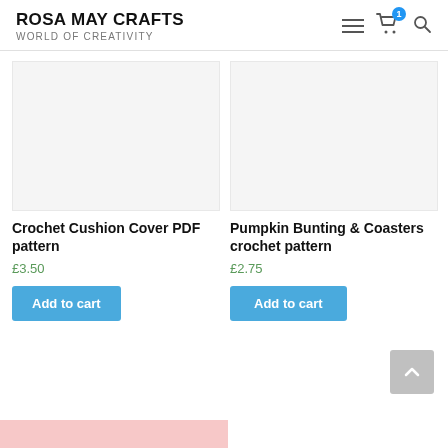ROSA MAY CRAFTS WORLD OF CREATIVITY
Crochet Cushion Cover PDF pattern £3.50
Pumpkin Bunting & Coasters crochet pattern £2.75
Add to cart
Add to cart